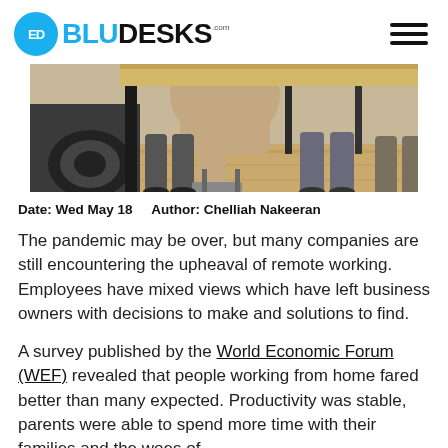BLUDESKS.com
[Figure (photo): Close-up photo of people's legs and feet at standing desks or bar-height tables in an office/coworking space, wooden flooring visible]
Date: Wed May 18     Author: Chelliah Nakeeran
The pandemic may be over, but many companies are still encountering the upheaval of remote working. Employees have mixed views which have left business owners with decisions to make and solutions to find.
A survey published by the World Economic Forum (WEF) revealed that people working from home fared better than many expected. Productivity was stable, parents were able to spend more time with their families and the woes of